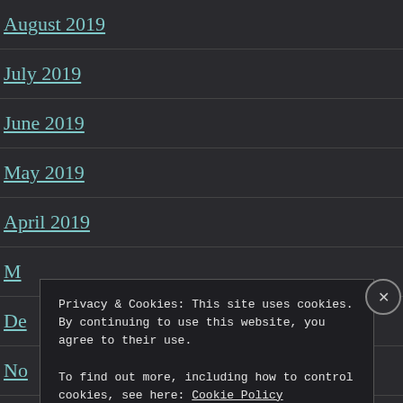August 2019
July 2019
June 2019
May 2019
April 2019
M…
De…
No…
Privacy & Cookies: This site uses cookies. By continuing to use this website, you agree to their use. To find out more, including how to control cookies, see here: Cookie Policy
Close and accept